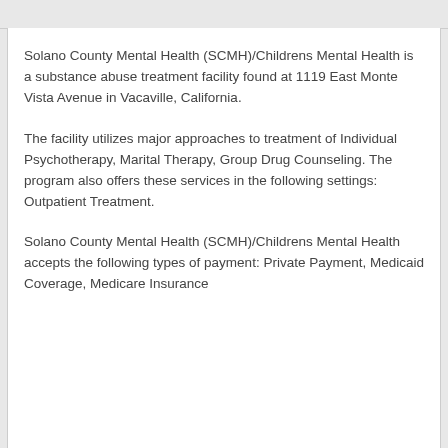Solano County Mental Health (SCMH)/Childrens Mental Health is a substance abuse treatment facility found at 1119 East Monte Vista Avenue in Vacaville, California.
The facility utilizes major approaches to treatment of Individual Psychotherapy, Marital Therapy, Group Drug Counseling. The program also offers these services in the following settings: Outpatient Treatment.
Solano County Mental Health (SCMH)/Childrens Mental Health accepts the following types of payment: Private Payment, Medicaid Coverage, Medicare Insurance